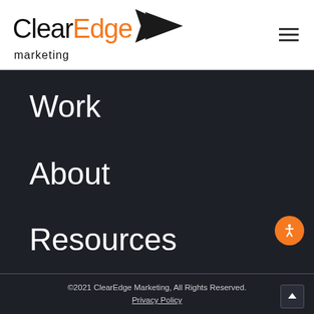[Figure (logo): ClearEdge Marketing logo with black arrow pointing right]
Work
About
Resources
©2021 ClearEdge Marketing, All Rights Reserved. Privacy Policy